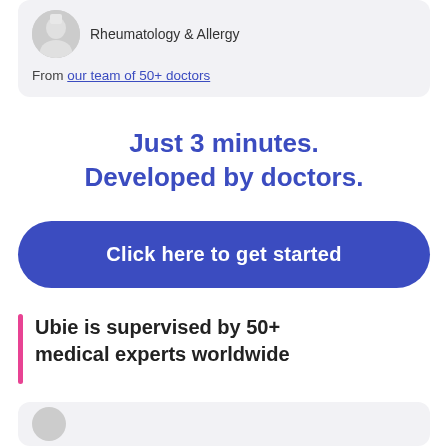Rheumatology & Allergy
From our team of 50+ doctors
Just 3 minutes.
Developed by doctors.
Click here to get started
Ubie is supervised by 50+ medical experts worldwide